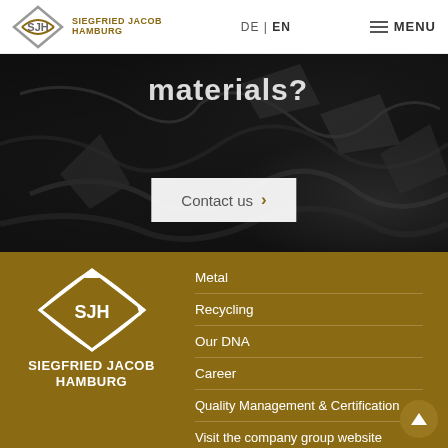Siegfried Jacob Hamburg | DE | EN | MENU
[Figure (photo): Dark background photo of scrap metal materials with partial heading text 'materials?']
Contact us ›
[Figure (logo): Siegfried Jacob Hamburg white logo on brown background with SJH diamond/arrow mark]
Metal
Recycling
Our DNA
Career
Quality Management & Certification
Visit the company group website